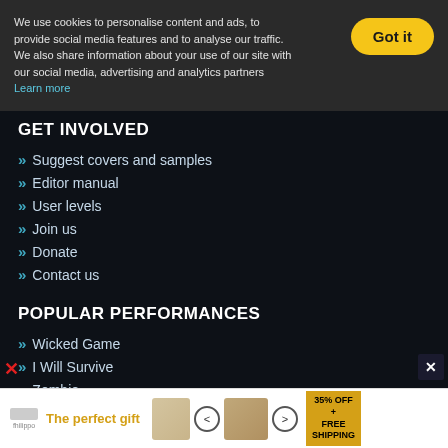We use cookies to personalise content and ads, to provide social media features and to analyse our traffic. We also share information about your use of our site with our social media, advertising and analytics partners Learn more
GET INVOLVED
» Suggest covers and samples
» Editor manual
» User levels
» Join us
» Donate
» Contact us
POPULAR PERFORMANCES
» Wicked Game
» I Will Survive
» Zombie
[Figure (screenshot): Bottom advertisement banner: 'The perfect gift' with food images and '35% OFF + FREE SHIPPING' offer]